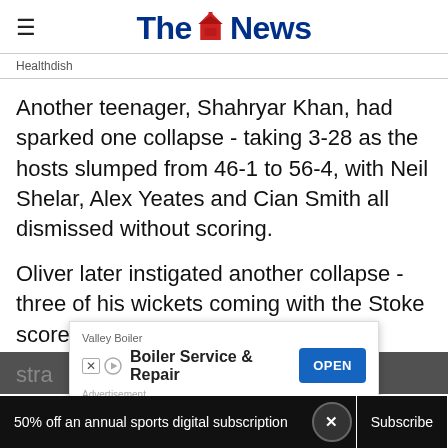The News
Healthdish
Another teenager, Shahryar Khan, had sparked one collapse - taking 3-28 as the hosts slumped from 46-1 to 56-4, with Neil Shelar, Alex Yeates and Cian Smith all dismissed without scoring.
Oliver later instigated another collapse - three of his wickets coming with the Stoke score stra…
[Figure (screenshot): Advertisement overlay: Valley Boiler - Boiler Service & Repair, with OPEN button]
50% off an annual sports digital subscription  Subscribe